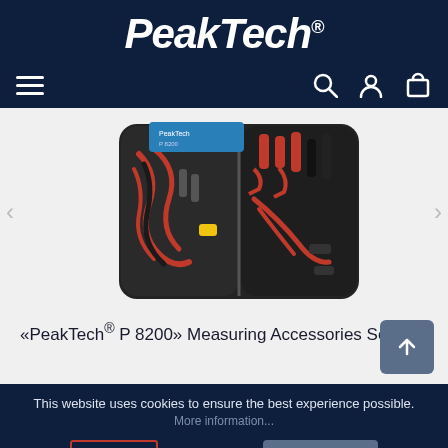[Figure (logo): PeakTech logo in white italic bold text on dark navy background with registered trademark symbol]
[Figure (screenshot): Navigation bar with hamburger menu on left and search, user, cart icons on right, on dark navy background]
[Figure (photo): PeakTech P 8200 Measuring Accessories Set: an open black carrying case containing red and black test leads, probes, clips, and various measuring accessories]
«PeakTech® P 8200» Measuring Accessories Set
This website uses cookies to ensure the best experience possible.
More information...
Deny
Configure
Accept all